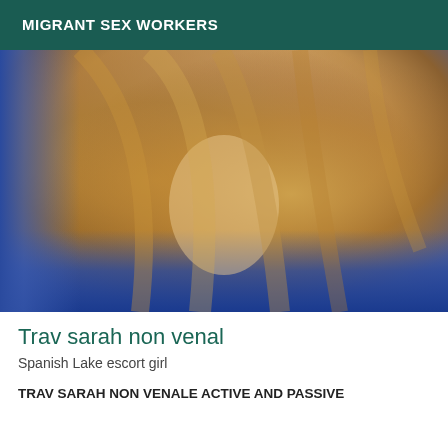MIGRANT SEX WORKERS
[Figure (photo): Close-up selfie photo of a person with long blonde hair wearing a blue top, hair covering much of the face]
Trav sarah non venal
Spanish Lake escort girl
TRAV SARAH NON VENALE ACTIVE AND PASSIVE